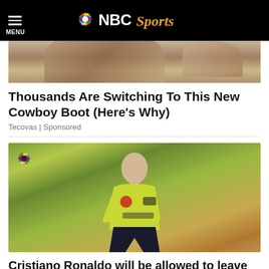MENU | NBC Sports
[Figure (photo): Partial image of cowboy boots, cropped at top]
Thousands Are Switching To This New Cowboy Boot (Here's Why)
Tecovas | Sponsored
[Figure (photo): Cristiano Ronaldo in yellow-green Manchester United away kit, standing on pitch with crowd behind him. NBC Sports watermark in top left corner.]
Cristiano Ronaldo will be allowed to leave...